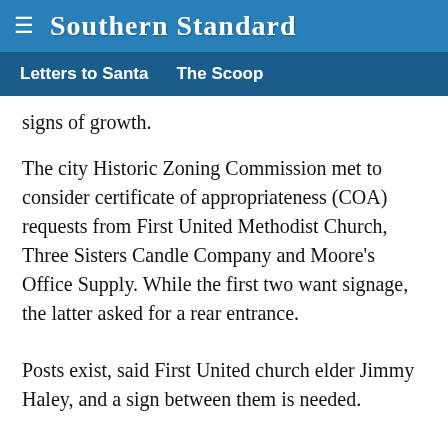Southern Standard
Letters to Santa   The Scoop
signs of growth.
The city Historic Zoning Commission met to consider certificate of appropriateness (COA) requests from First United Methodist Church, Three Sisters Candle Company and Moore’s Office Supply. While the first two want signage, the latter asked for a rear entrance.
Posts exist, said First United church elder Jimmy Haley, and a sign between them is needed.